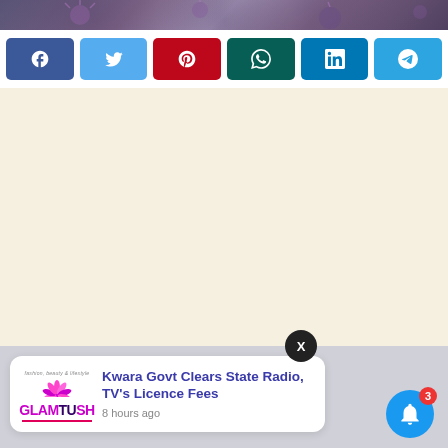[Figure (photo): Partial view of a virus/coronavirus microscopy image with purple and pink tones at the top of the page]
[Figure (infographic): Row of six social media share buttons: Facebook (blue), Twitter (light blue), Pinterest (red), WhatsApp (dark teal), LinkedIn (blue), Telegram (blue), each with their respective icons]
[Figure (other): Large cream/beige advertisement placeholder area]
[Figure (infographic): Push notification card showing Glamtush logo and headline 'Kwara Govt Clears State Radio, TV's Licence Fees' with timestamp '8 hours ago', with a close X button and a blue bell notification button with badge showing 3]